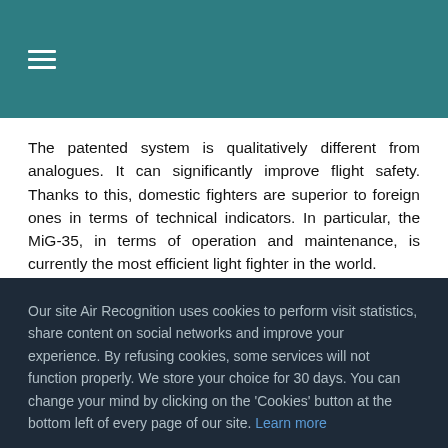≡
The patented system is qualitatively different from analogues. It can significantly improve flight safety. Thanks to this, domestic fighters are superior to foreign ones in terms of technical indicators. In particular, the MiG-35, in terms of operation and maintenance, is currently the most efficient light fighter in the world.
Our site Air Recognition uses cookies to perform visit statistics, share content on social networks and improve your experience. By refusing cookies, some services will not function properly. We store your choice for 30 days. You can change your mind by clicking on the 'Cookies' button at the bottom left of every page of our site. Learn more